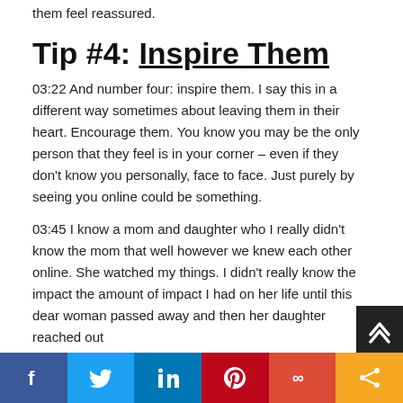them feel reassured.
Tip #4: Inspire Them
03:22 And number four: inspire them. I say this in a different way sometimes about leaving them in their heart. Encourage them. You know you may be the only person that they feel is in your corner – even if they don't know you personally, face to face. Just purely by seeing you online could be something.
03:45 I know a mom and daughter who I really didn't know the mom that well however we knew each other online. She watched my things. I didn't really know the impact the amount of impact I had on her life until this dear woman passed away and then her daughter reached out...